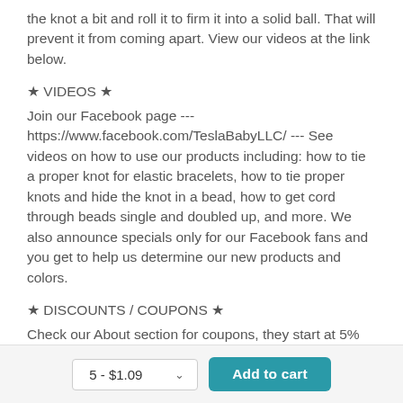the knot a bit and roll it to firm it into a solid ball. That will prevent it from coming apart. View our videos at the link below.
★ VIDEOS ★
Join our Facebook page --- https://www.facebook.com/TeslaBabyLLC/ --- See videos on how to use our products including: how to tie a proper knot for elastic bracelets, how to tie proper knots and hide the knot in a bead, how to get cord through beads single and doubled up, and more. We also announce specials only for our Facebook fans and you get to help us determine our new products and colors.
★ DISCOUNTS / COUPONS ★
Check our About section for coupons, they start at 5% off orders over $50. Join our mailing list for awesome